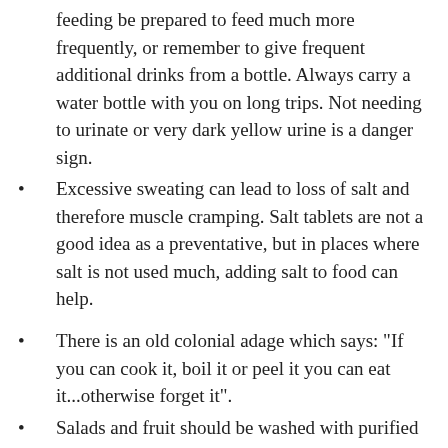feeding be prepared to feed much more frequently, or remember to give frequent additional drinks from a bottle. Always carry a water bottle with you on long trips. Not needing to urinate or very dark yellow urine is a danger sign.
Excessive sweating can lead to loss of salt and therefore muscle cramping. Salt tablets are not a good idea as a preventative, but in places where salt is not used much, adding salt to food can help.
There is an old colonial adage which says: "If you can cook it, boil it or peel it you can eat it...otherwise forget it".
Salads and fruit should be washed with purified water or peeled where possible.
Ice cream is usually OK if it is a reputable brand name, but beware of buying it from street vendors in developing countries in case the ice cream has